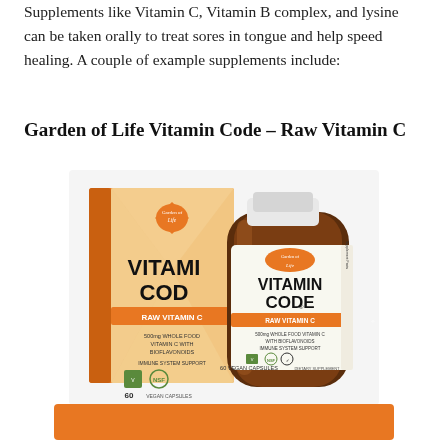Supplements like Vitamin C, Vitamin B complex, and lysine can be taken orally to treat sores in tongue and help speed healing. A couple of example supplements include:
Garden of Life Vitamin Code – Raw Vitamin C
[Figure (photo): Product photo of Garden of Life Vitamin Code Raw Vitamin C supplement, showing both the orange box packaging and amber glass bottle. Label reads: VITAMIN CODE RAW VITAMIN C, 500mg Whole Food Vitamin C with Bioflavonoids, Immune System Support, 60 Vegan Capsules, Dietary Supplement.]